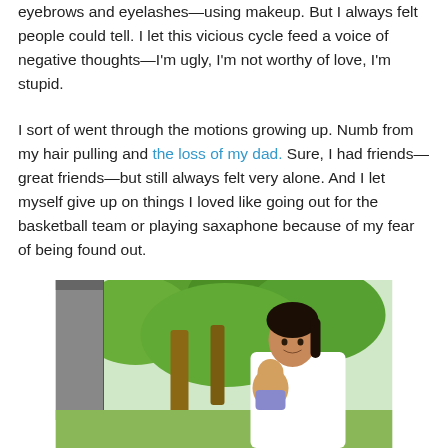eyebrows and eyelashes—using makeup. But I always felt people could tell. I let this vicious cycle feed a voice of negative thoughts—I'm ugly, I'm not worthy of love, I'm stupid.
I sort of went through the motions growing up. Numb from my hair pulling and the loss of my dad. Sure, I had friends—great friends—but still always felt very alone. And I let myself give up on things I loved like going out for the basketball team or playing saxaphone because of my fear of being found out.
[Figure (photo): A woman with dark hair pulled back smiling and holding a baby, outdoors with green trees and a rooftop visible in the background.]